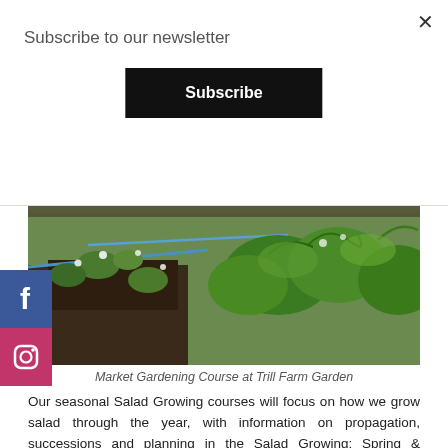Subscribe to our newsletter
Subscribe
[Figure (photo): Market gardening garden beds with growing salad plants, green leafy vegetables and irrigation lines visible at Trill Farm Garden]
Market Gardening Course at Trill Farm Garden
Our seasonal Salad Growing courses will focus on how we grow salad through the year, with information on propagation, successions and planning in the Salad Growing: Spring & Summer course and polytunnel production, growing for restaurants, harvesting techniques, pests and diseases and irrigation in the Salad Growing: Autumn & Winter course. Find out more information on these courses on the Salad Growing: Spring & Summer and Salad Growing: Autumn & Winter course pages.